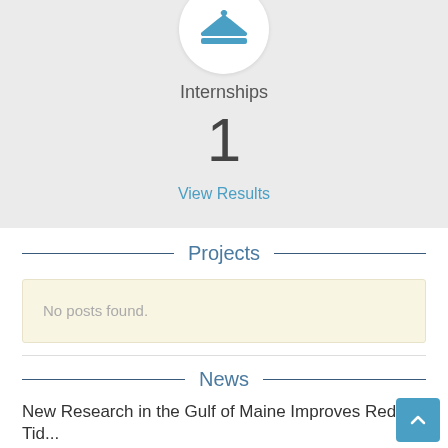[Figure (illustration): Internships icon: a blue hanger/clothes rack icon inside a white circular badge on a light gray background]
Internships
1
View Results
Projects
No posts found.
News
New Research in the Gulf of Maine Improves Red Tid...